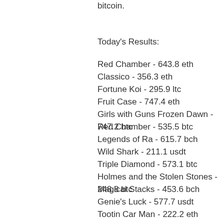bitcoin.
Today's Results:
Red Chamber - 643.8 eth
Classico - 356.3 eth
Fortune Koi - 295.9 ltc
Fruit Case - 747.4 eth
Girls with Guns Frozen Dawn - 747.2 btc
Red Chamber - 535.5 btc
Legends of Ra - 615.7 bch
Wild Shark - 211.1 usdt
Triple Diamond - 573.1 btc
Holmes and the Stolen Stones - 248.8 btc
Magical Stacks - 453.6 bch
Genie's Luck - 577.7 usdt
Tootin Car Man - 222.2 eth
Golden Sphinx - 544.4 ltc
Mighty Dragon - 262.7 btc
Popular Slots:
Bitcasino.io Sweet Treats